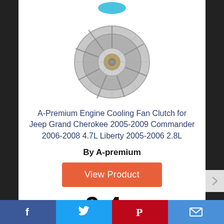[Figure (photo): Fan clutch part photo - circular metallic engine cooling fan clutch component]
A-Premium Engine Cooling Fan Clutch for Jeep Grand Cherokee 2005-2009 Commander 2006-2008 4.7L Liberty 2005-2006 2.8L
By A-premium
View Product
9.4 ✓
Score
Facebook | Twitter | Pinterest | Email